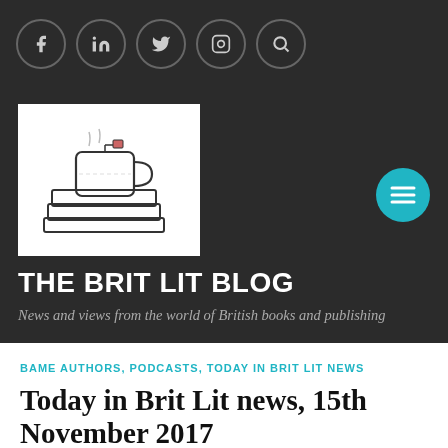Social icons: Facebook, LinkedIn, Twitter, Instagram, Search
[Figure (logo): The Brit Lit Blog logo: a tea mug on top of a stack of books, hand-drawn illustration in black and white]
THE BRIT LIT BLOG
News and views from the world of British books and publishing
BAME AUTHORS, PODCASTS, TODAY IN BRIT LIT NEWS
Today in Brit Lit news, 15th November 2017
[Figure (photo): Partial photograph of a person, bottom portion visible, appears to be outdoors]